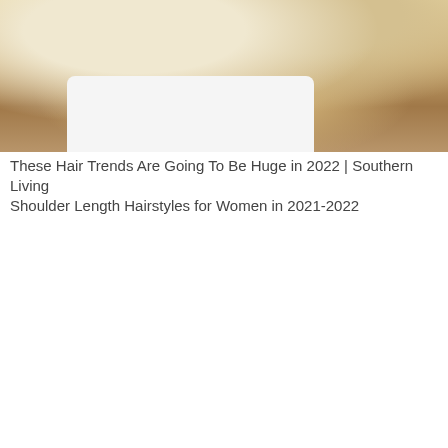[Figure (photo): Close-up photo of a person with long blonde highlighted hair wearing a white t-shirt, hair partially covering face, green background visible on right side]
These Hair Trends Are Going To Be Huge in 2022 | Southern Living
Shoulder Length Hairstyles for Women in 2021-2022
[Figure (photo): Close-up photo of a woman with shoulder-length blonde layered hair with bangs, eyes closed, against a dark background]